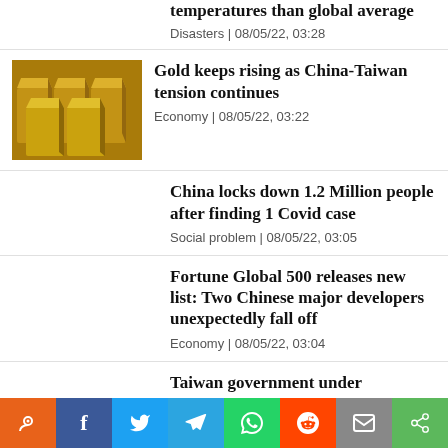temperatures than global average
Disasters | 08/05/22, 03:28
[Figure (photo): Stacked gold bars/ingots, golden color]
Gold keeps rising as China-Taiwan tension continues
Economy | 08/05/22, 03:22
China locks down 1.2 Million people after finding 1 Covid case
Social problem | 08/05/22, 03:05
Fortune Global 500 releases new list: Two Chinese major developers unexpectedly fall off
Economy | 08/05/22, 03:04
Taiwan government under